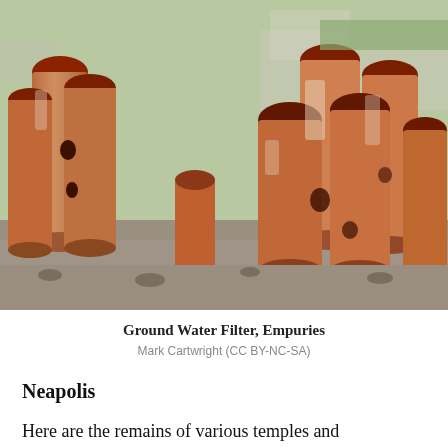[Figure (photo): Archaeological photo of ancient Roman/Greek ceramic ground water filter pipes arranged in a circular formation at Empuries. The terracotta pipe segments are cylindrical, reddish-orange with white/beige mineral deposits, standing upright and leaning against each other, with some pipes broken. Rocky ground and stone ruins visible in background.]
Ground Water Filter, Empuries
Mark Cartwright (CC BY-NC-SA)
Neapolis
Here are the remains of various temples and